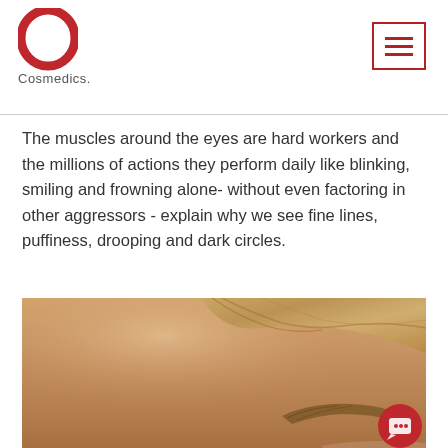O Cosmedics
The muscles around the eyes are hard workers and the millions of actions they perform daily like blinking, smiling and frowning alone- without even factoring in other aggressors - explain why we see fine lines, puffiness, drooping and dark circles.
[Figure (photo): Close-up photo of a woman's forehead and eyebrow area showing smooth skin, with blonde hair visible at the top right. A red chat button is visible in the bottom right corner.]